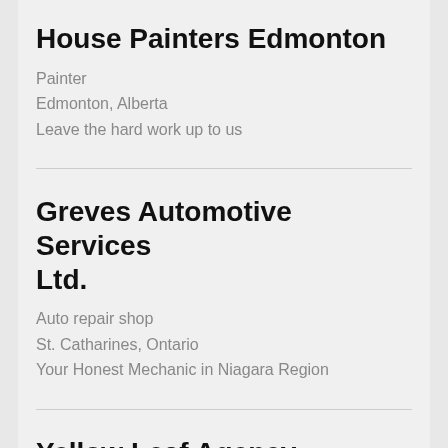House Painters Edmonton
Painter
Edmonton, Alberta
Leave the hard work up to us
Greves Automotive Services Ltd.
Auto repair shop
St. Catharines, Ontario
Your Honest Mechanic in Niagara Region
Yellow Leaf Agency
Marketing agency